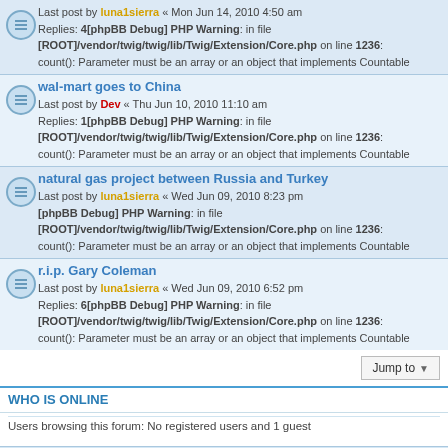Last post by luna1sierra « Mon Jun 14, 2010 4:50 am
Replies: 4[phpBB Debug] PHP Warning: in file [ROOT]/vendor/twig/twig/lib/Twig/Extension/Core.php on line 1236: count(): Parameter must be an array or an object that implements Countable
wal-mart goes to China
Last post by Dev « Thu Jun 10, 2010 11:10 am
Replies: 1[phpBB Debug] PHP Warning: in file [ROOT]/vendor/twig/twig/lib/Twig/Extension/Core.php on line 1236: count(): Parameter must be an array or an object that implements Countable
natural gas project between Russia and Turkey
Last post by luna1sierra « Wed Jun 09, 2010 8:23 pm
[phpBB Debug] PHP Warning: in file [ROOT]/vendor/twig/twig/lib/Twig/Extension/Core.php on line 1236: count(): Parameter must be an array or an object that implements Countable
r.i.p. Gary Coleman
Last post by luna1sierra « Wed Jun 09, 2010 6:52 pm
Replies: 6[phpBB Debug] PHP Warning: in file [ROOT]/vendor/twig/twig/lib/Twig/Extension/Core.php on line 1236: count(): Parameter must be an array or an object that implements Countable
WHO IS ONLINE
Users browsing this forum: No registered users and 1 guest
Board index   Contact us   The team